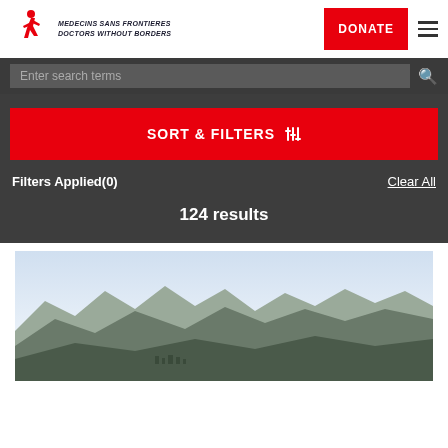[Figure (logo): Médecins Sans Frontières / Doctors Without Borders logo with red running figure and text]
DONATE
Enter search terms
SORT & FILTERS
Filters Applied(0)
Clear All
124 results
[Figure (photo): Mountain landscape with hazy sky, hills and a small town visible at the base of rugged mountains]